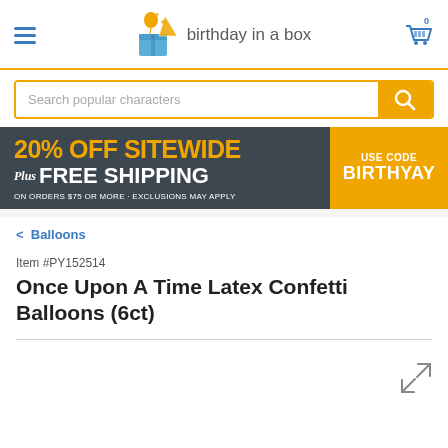[Figure (logo): Birthday in a Box logo with balloon, party hat, and gift box icon, text reading 'birthday in a box']
[Figure (screenshot): Search bar with placeholder 'Search popular characters' and orange search button]
[Figure (infographic): Promotional banner: '20% OFF SITEWIDE Plus FREE SHIPPING ON ORDERS $75 OR MORE - EXCLUSIONS MAY APPLY' on dark background, 'USE CODE BIRTHYAY' on orange background]
< Balloons
Item #PY152514
Once Upon A Time Latex Confetti Balloons (6ct)